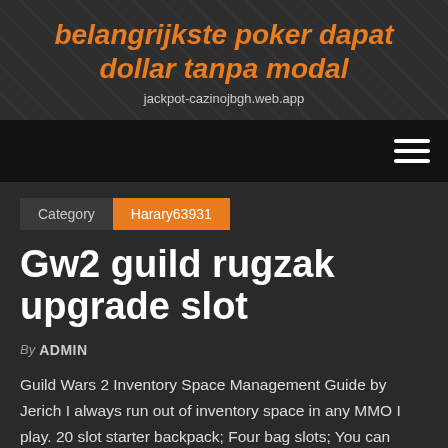belangrijkste poker dapat dollar tanpa modal
jackpot-cazinojbgh.web.app
Category  Harary63931
Gw2 guild rugzak upgrade slot
By ADMIN
Guild Wars 2 Inventory Space Management Guide by Jerich I always run out of inventory space in any MMO I play. 20 slot starter backpack; Four bag slots; You can have up to 5